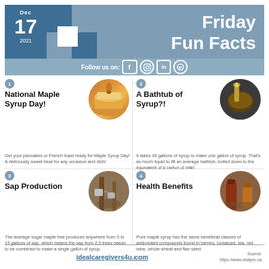[Figure (infographic): Header banner with calendar showing Dec 17 2021, checkerboard blue squares pattern, 'Friday Fun Facts' title text, and social media icons bar (Facebook, Instagram, LinkedIn, Pinterest)]
1 National Maple Syrup Day!
[Figure (photo): Circular photo of maple syrup being poured over pancakes]
Get your pancakes or French toast ready for Maple Syrup Day! A deliciously sweet treat for any occasion and dish!
2 A Bathtub of Syrup?!
[Figure (photo): Circular photo of maple syrup being poured into a metal container]
It takes 40 gallons of syrup to make one gallon of syrup. That's as much liquid to fill an average bathtub, boiled down to the equivalent of a carton of milk!
3 Sap Production
[Figure (photo): Circular photo of maple sap collection buckets on trees]
The average sugar maple tree produces anywhere from 5 to 15 gallons of sap, which means the sap from 2.5 trees needs to be combined to make a single gallon of syrup.
4 Health Benefits
[Figure (photo): Circular photo of maple syrup bottles on a wooden surface]
Pure maple syrup has the same beneficial classes of antioxidant compounds found in berries, tomatoes, tea, red wine, whole wheat and flax seed.
idealcaregivers4u.com  Source: https://www.visitpec.ca